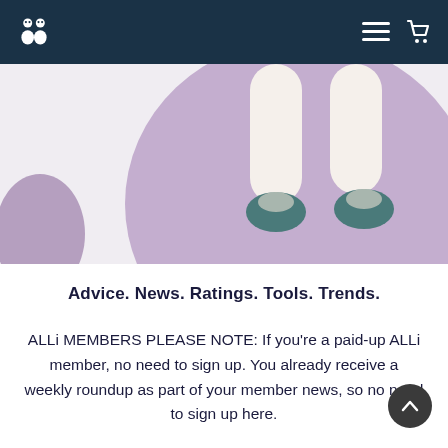ALLi navigation header with logo and menu/cart icons
[Figure (illustration): Illustration of two pairs of legs/feet with teal shoes standing on a large purple circle, on a light grey background — viewed from above.]
Advice. News. Ratings. Tools. Trends.
ALLi MEMBERS PLEASE NOTE: If you're a paid-up ALLi member, no need to sign up. You already receive a weekly roundup as part of your member news, so no need to sign up here.